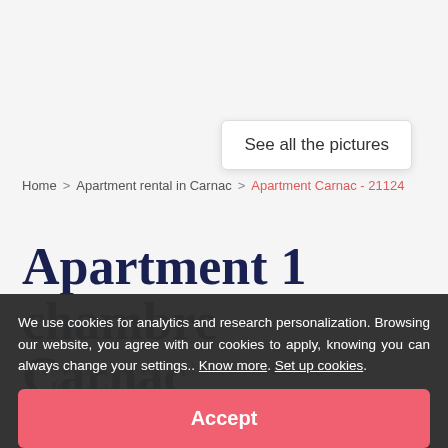[Figure (screenshot): Button: See all the pictures (white rounded rectangle with shadow)]
Home > Apartment rental in Carnac > Apartment Carnac - 21124
Apartment 1 chambre Carnac
... close to the sea, without cookies, and reaching the shops
We use cookies for analytics and research personalization. Browsing our website, you agree with our cookies to apply, knowing you can always change your settings.. Know more. Set up cookies.
Accept